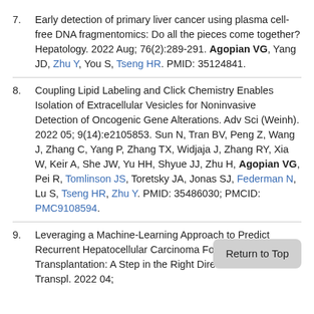7. Early detection of primary liver cancer using plasma cell-free DNA fragmentomics: Do all the pieces come together? Hepatology. 2022 Aug; 76(2):289-291. Agopian VG, Yang JD, Zhu Y, You S, Tseng HR. PMID: 35124841.
8. Coupling Lipid Labeling and Click Chemistry Enables Isolation of Extracellular Vesicles for Noninvasive Detection of Oncogenic Gene Alterations. Adv Sci (Weinh). 2022 05; 9(14):e2105853. Sun N, Tran BV, Peng Z, Wang J, Zhang C, Yang P, Zhang TX, Widjaja J, Zhang RY, Xia W, Keir A, She JW, Yu HH, Shyue JJ, Zhu H, Agopian VG, Pei R, Tomlinson JS, Toretsky JA, Jonas SJ, Federman N, Lu S, Tseng HR, Zhu Y. PMID: 35486030; PMCID: PMC9108594.
9. Leveraging a Machine-Learning … Predict Recurrent Hepatocellula… Following Liver Transplantation: A Step in the Right Direction? Liver Transpl. 2022 04;